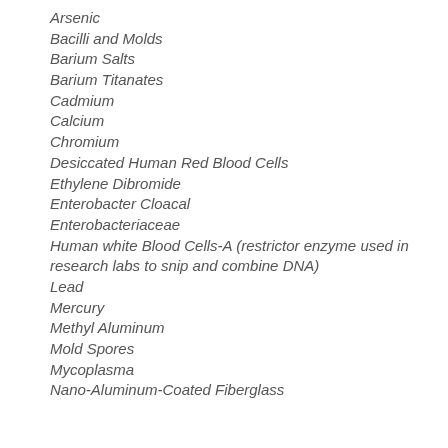Arsenic
Bacilli and Molds
Barium Salts
Barium Titanates
Cadmium
Calcium
Chromium
Desiccated Human Red Blood Cells
Ethylene Dibromide
Enterobacter Cloacal
Enterobacteriaceae
Human white Blood Cells-A (restrictor enzyme used in research labs to snip and combine DNA)
Lead
Mercury
Methyl Aluminum
Mold Spores
Mycoplasma
Nano-Aluminum-Coated Fiberglass